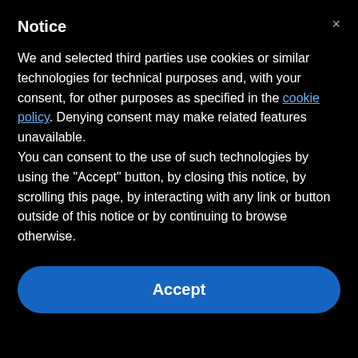Notice
We and selected third parties use cookies or similar technologies for technical purposes and, with your consent, for other purposes as specified in the cookie policy. Denying consent may make related features unavailable.
You can consent to the use of such technologies by using the "Accept" button, by closing this notice, by scrolling this page, by interacting with any link or button outside of this notice or by continuing to browse otherwise.
Accept
on his lap, tucked my head into his neck and wept.
TAKE THE PRAYER CHALLENGE
START TODAY